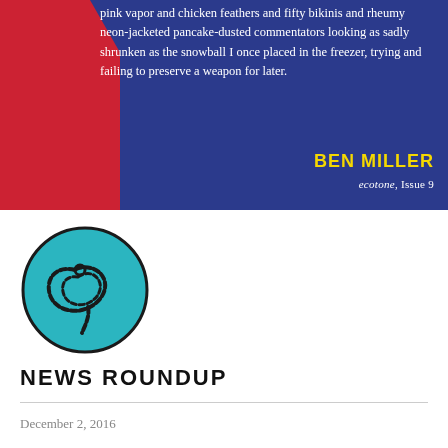[Figure (illustration): Blue rectangle with red diagonal stripe on the left containing a white quote text, author name 'BEN MILLER' in yellow bold, and source 'ecotone, Issue 9' in white]
pink vapor and chicken feathers and fifty bikinis and rheumy neon-jacketed pancake-dusted commentators looking as sadly shrunken as the snowball I once placed in the freezer, trying and failing to preserve a weapon for later.
BEN MILLER
ecotone, Issue 9
[Figure (logo): Circular logo with teal background and a rope or lasso design in dark outline forming a stylized loop shape inside a circle]
NEWS ROUNDUP
December 2, 2016